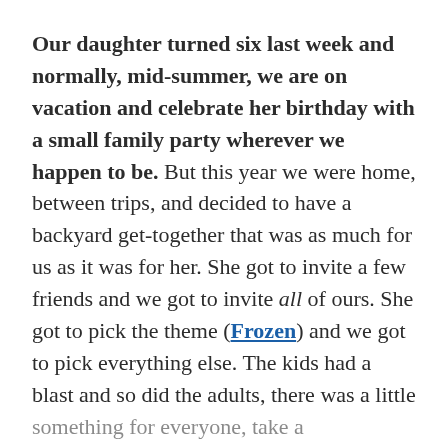Our daughter turned six last week and normally, mid-summer, we are on vacation and celebrate her birthday with a small family party wherever we happen to be. But this year we were home, between trips, and decided to have a backyard get-together that was as much for us as it was for her. She got to invite a few friends and we got to invite all of ours. She got to pick the theme (Frozen) and we got to pick everything else. The kids had a blast and so did the adults, there was a little something for everyone, take a look!
We wanted the main attraction to be